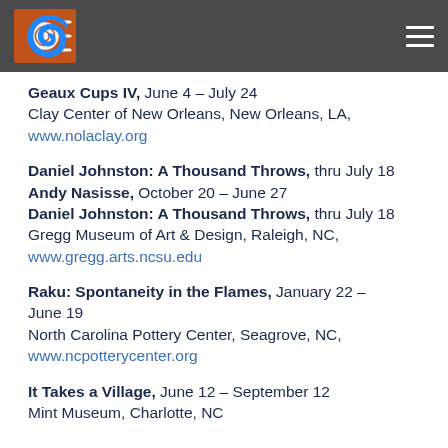Logo and navigation header
Geaux Cups IV, June 4 – July 24
Clay Center of New Orleans, New Orleans, LA,
www.nolaclay.org
Daniel Johnston: A Thousand Throws, thru July 18
Andy Nasisse, October 20 – June 27
Daniel Johnston: A Thousand Throws, thru July 18
Gregg Museum of Art & Design, Raleigh, NC,
www.gregg.arts.ncsu.edu
Raku: Spontaneity in the Flames, January 22 – June 19
North Carolina Pottery Center, Seagrove, NC,
www.ncpotterycenter.org
It Takes a Village, June 12 – September 12
Mint Museum, Charlotte, NC